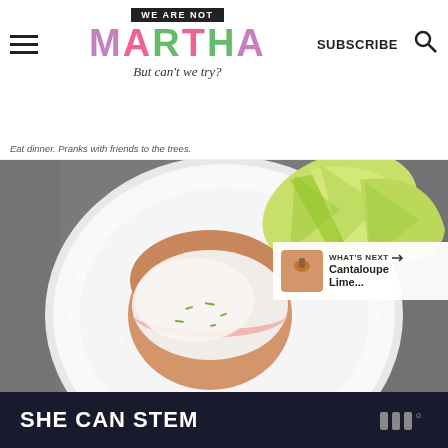[Figure (logo): We Are Not Martha blog logo with colorful MARTHA text and tagline 'But can't we try?']
SUBSCRIBE
But can't we try?
Eat dinner. Pranks with friends to the trees.
[Figure (photo): Overhead photo of a lime glazed cookie/cake on a white plate with lime wedges in background]
WHAT'S NEXT → Cantaloupe Lime...
SHE CAN STEM